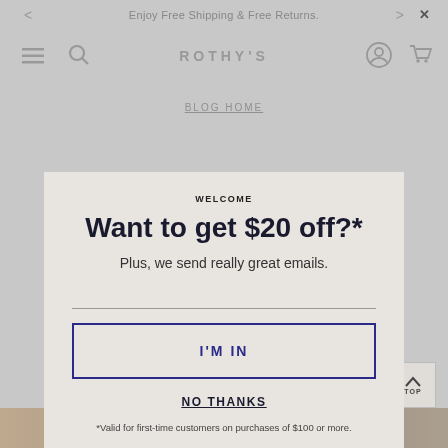Enjoy Free Shipping & Free Returns.
[Figure (screenshot): Rothy's website navigation bar with hamburger menu, search icon, ROTHY'S logo, account icon and cart icon, all dimmed/greyed out as background behind modal]
BLOG HOME
Meet The Sandal Collection.
FRIDAY, APRIL 26
WELCOME
Want to get $20 off?*
Plus, we send really great emails.
I'M IN
NO THANKS
*Valid for first-time customers on purchases of $100 or more.